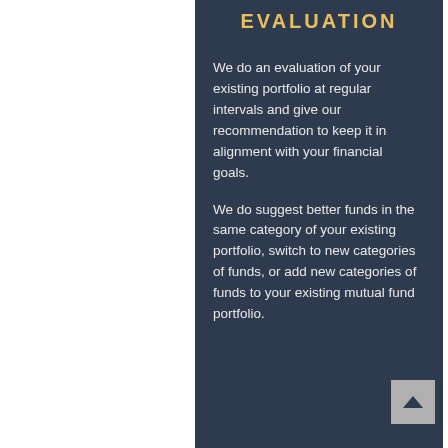EVALUATION
We do an evaluation of your existing portfolio at regular intervals and give our recommendation to keep it in alignment with your financial goals.
We do suggest better funds in the same category of your existing portfolio, switch to new categories of funds, or add new categories of funds to your existing mutual fund portfolio.